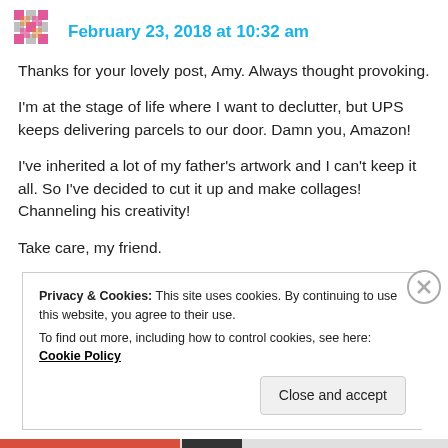February 23, 2018 at 10:32 am
Thanks for your lovely post, Amy. Always thought provoking.
I'm at the stage of life where I want to declutter, but UPS keeps delivering parcels to our door. Damn you, Amazon!
I've inherited a lot of my father's artwork and I can't keep it all. So I've decided to cut it up and make collages! Channeling his creativity!
Take care, my friend.
Privacy & Cookies: This site uses cookies. By continuing to use this website, you agree to their use. To find out more, including how to control cookies, see here: Cookie Policy